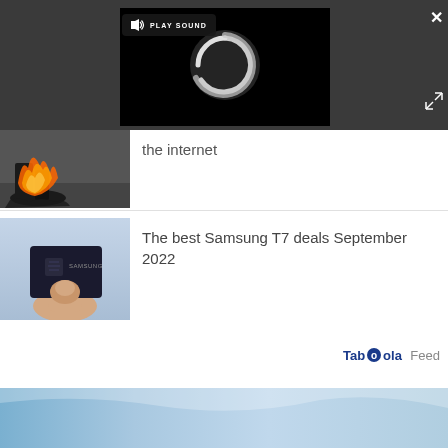[Figure (screenshot): Dark overlay UI with video player showing a loading spinner and a PLAY SOUND button with speaker icon. A close (X) button is in the top right, and an expand icon below it.]
[Figure (photo): Partial thumbnail of shoes or boots with flame/fire effect on a wet surface.]
the internet
[Figure (photo): Hand holding a Samsung T7 portable SSD drive against a light blue/gray background.]
The best Samsung T7 deals September 2022
[Figure (logo): Taboola Feed logo with blue stylized text and 'Feed' in gray.]
[Figure (photo): Light blue gradient banner image at the bottom of the page.]